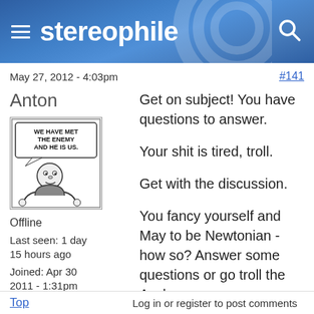stereophile
May 27, 2012 - 4:03pm
#141
Anton
[Figure (illustration): Comic strip panel avatar showing a cartoon character with speech bubble saying 'WE HAVE MET THE ENEMY AND HE IS US.']
Offline
Last seen: 1 day 15 hours ago
Joined: Apr 30 2011 - 1:31pm
Get on subject! You have questions to answer.

Your shit is tired, troll.

Get with the discussion.

You fancy yourself and May to be Newtonian - how so? Answer some questions or go troll the Asylum.
Top    Log in or register to post comments